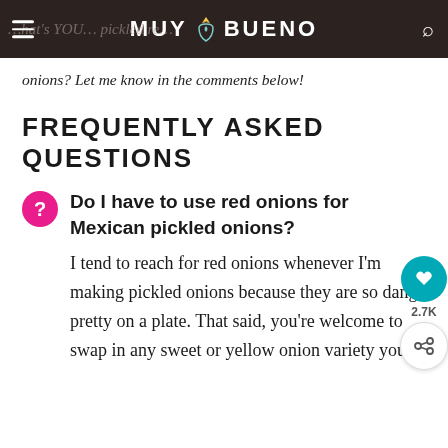MUY BUENO
What's YOUR… pickled red onions? Let me know in the comments below!
FREQUENTLY ASKED QUESTIONS
Do I have to use red onions for Mexican pickled onions?
I tend to reach for red onions whenever I'm making pickled onions because they are so dang pretty on a plate. That said, you're welcome to swap in any sweet or yellow onion variety you